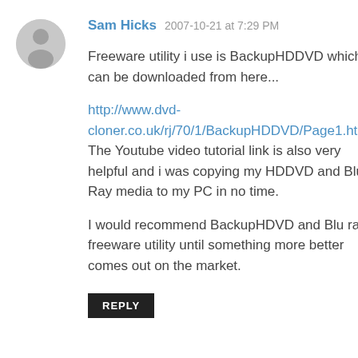[Figure (illustration): Gray circular avatar icon with a generic person silhouette]
Sam Hicks  2007-10-21 at 7:29 PM
Freeware utility i use is BackupHDDVD which can be downloaded from here...
http://www.dvd-cloner.co.uk/rj/70/1/BackupHDDVD/Page1.html
The Youtube video tutorial link is also very helpful and i was copying my HDDVD and Blu Ray media to my PC in no time.
I would recommend BackupHDVD and Blu ray freeware utility until something more better comes out on the market.
REPLY